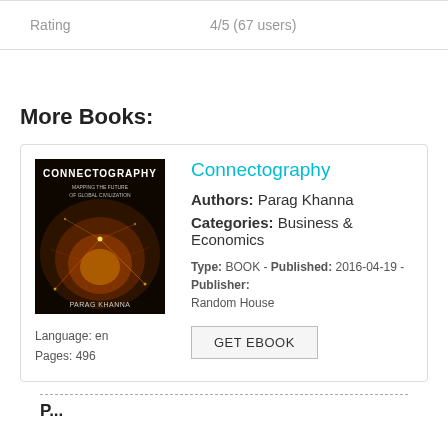| Field | Value |
| --- | --- |
| Rating | 4/5 (67 users) |
More Books:
[Figure (photo): Book cover of Connectography by Parag Khanna — dark space/network image]
Language: en
Pages: 496
Connectography
Authors: Parag Khanna
Categories: Business & Economics
Type: BOOK - Published: 2016-04-19 - Publisher: Random House
GET EBOOK